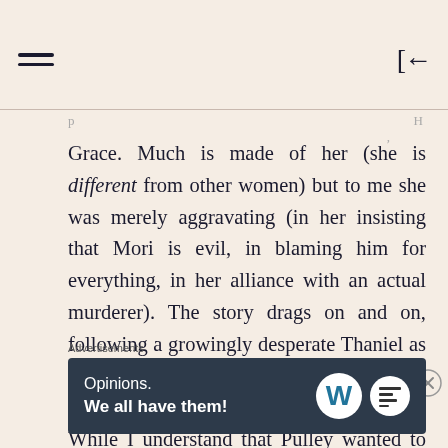[hamburger menu icon] [back/login icon]
Grace. Much is made of her (she is different from other women) but to me she was merely aggravating (in her insisting that Mori is evil, in blaming him for everything, in her alliance with an actual murderer). The story drags on and on, following a growingly desperate Thaniel as he tries to navigate Japanese customs and politics.
While I understand that Pulley wanted to distinguish formal from informal Japanese, part of me found the use of swearwords to be an ill suited
Advertisements
[Figure (screenshot): WordPress advertisement banner: dark blue/navy background, text 'Opinions. We all have them!' with WordPress W logo and Blog logo on the right.]